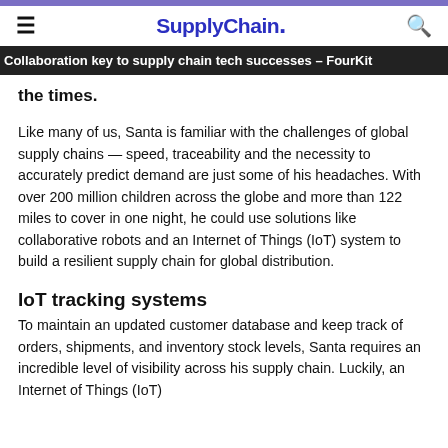SupplyChain.
Collaboration key to supply chain tech successes – FourKit
the times.
Like many of us, Santa is familiar with the challenges of global supply chains — speed, traceability and the necessity to accurately predict demand are just some of his headaches. With over 200 million children across the globe and more than 122 miles to cover in one night, he could use solutions like collaborative robots and an Internet of Things (IoT) system to build a resilient supply chain for global distribution.
IoT tracking systems
To maintain an updated customer database and keep track of orders, shipments, and inventory stock levels, Santa requires an incredible level of visibility across his supply chain. Luckily, an Internet of Things (IoT)